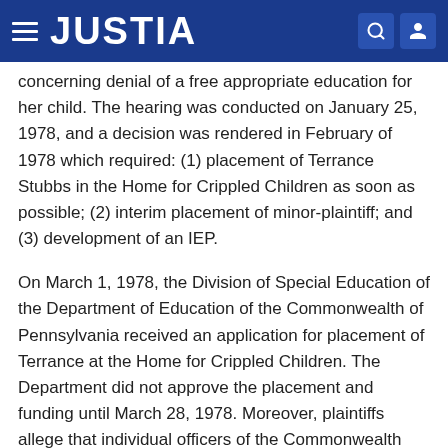JUSTIA
concerning denial of a free appropriate education for her child. The hearing was conducted on January 25, 1978, and a decision was rendered in February of 1978 which required: (1) placement of Terrance Stubbs in the Home for Crippled Children as soon as possible; (2) interim placement of minor-plaintiff; and (3) development of an IEP.
On March 1, 1978, the Division of Special Education of the Department of Education of the Commonwealth of Pennsylvania received an application for placement of Terrance at the Home for Crippled Children. The Department did not approve the placement and funding until March 28, 1978. Moreover, plaintiffs allege that individual officers of the Commonwealth had knowledge that the child was not receiving a free appropriate education as early as September of 1977. On May 1, 1978, Terrance Stubbs was admitted to the Home for